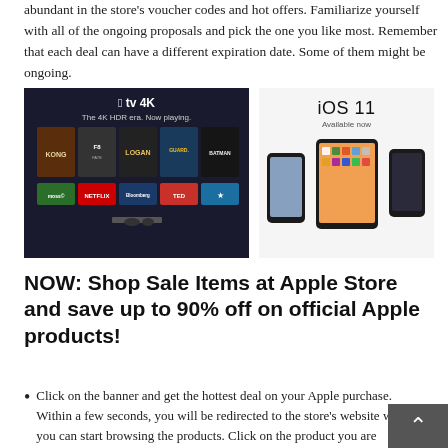abundant in the store's voucher codes and hot offers. Familiarize yourself with all of the ongoing proposals and pick the one you like most. Remember that each deal can have a different expiration date. Some of them might be ongoing.
[Figure (illustration): Left image: Apple TV 4K promotional banner with dark background showing movie thumbnails (Kong, F8, Logan, and others) and app icons (Netflix, Bloomberg, TED, Apple). Text: 'apple tv 4K - The 4K HDR era. Now playing.' Right image: iOS 11 promotional image on white background showing three Apple devices (iPhone, iPad, iPhone) with iOS 11 home screens. Text: 'iOS 11 - Available now']
NOW: Shop Sale Items at Apple Store and save up to 90% off on official Apple products!
Click on the banner and get the hottest deal on your Apple purchase. Within a few seconds, you will be redirected to the store's website where you can start browsing the products. Click on the product you are interested in and read the product's overview carefully. Select the quantity and add your item(s) to cart. Please note if all prices are